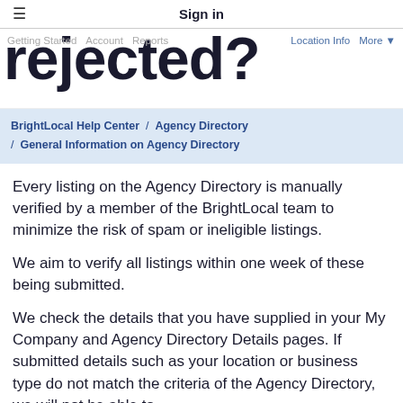Sign in
rejected?
Getting Started  Account  Reports  Location Info  More ▼
BrightLocal Help Center / Agency Directory / General Information on Agency Directory
Every listing on the Agency Directory is manually verified by a member of the BrightLocal team to minimize the risk of spam or ineligible listings.
We aim to verify all listings within one week of these being submitted.
We check the details that you have supplied in your My Company and Agency Directory Details pages. If submitted details such as your location or business type do not match the criteria of the Agency Directory, we will not be able to